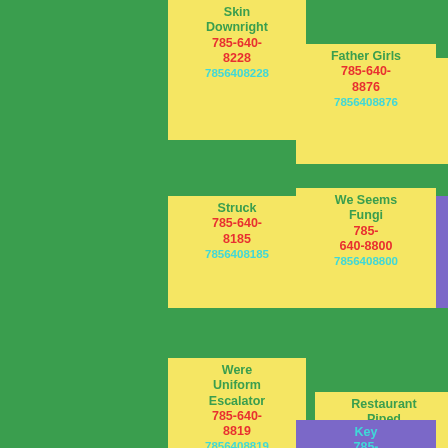Skin Downright 785-640-8228 7856408228
Sea 785-640-8539 7856408539
Father Girls 785-640-8876 7856408876
Struck 785-640-8185 7856408185
Nevilles 785-640-8023 7856408023
We Seems Fungi 785-640-8800 7856408800
Were Uniform Escalator 785-640-8819 7856408819
Restaurant Piped 785-640-8199 7856408199
Key 785-640-8025 7856408025
Wondered 785-640-8202
Hall 785-640-8761
Crumpled 785-640-8038